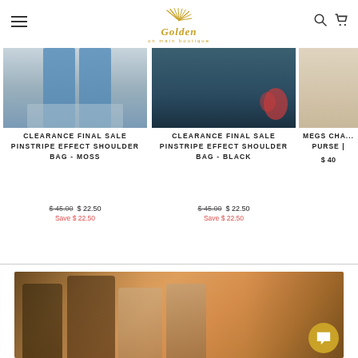Golden on main boutique
[Figure (photo): Product photo: bottom of jeans/blue pants, moss colored shoulder bag partially visible]
CLEARANCE FINAL SALE PINSTRIPE EFFECT SHOULDER BAG - MOSS
$ 45.00  $ 22.50
Save $ 22.50
[Figure (photo): Product photo: person holding flowers, wearing jeans, black shoulder bag]
CLEARANCE FINAL SALE PINSTRIPE EFFECT SHOULDER BAG - BLACK
$ 45.00  $ 22.50
Save $ 22.50
[Figure (photo): Partial product photo: MEGS CHA... PURSE | $40...]
MEGS CHA... PURSE |
$ 40
[Figure (photo): Group photo of four women smiling outdoors in warm afternoon light]